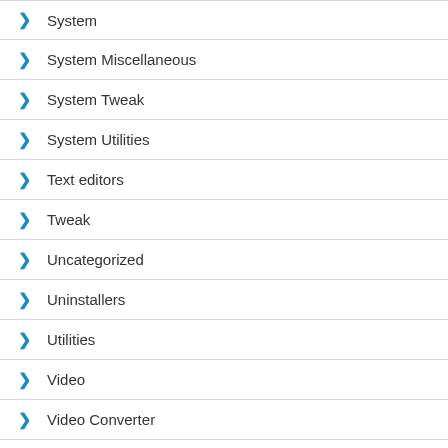System
System Miscellaneous
System Tweak
System Utilities
Text editors
Tweak
Uncategorized
Uninstallers
Utilities
Video
Video Converter